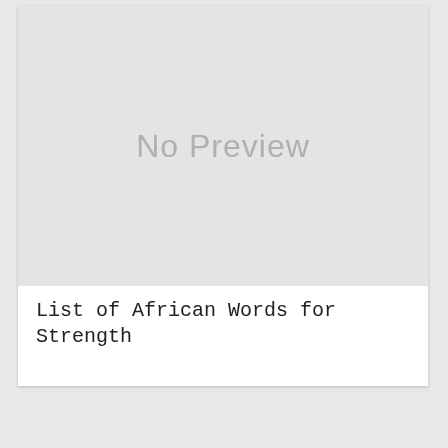[Figure (other): No Preview placeholder image with light gray background]
List of African Words for Strength
[Figure (other): Close button with X symbol, dark horizontal bar, and yellow strip at bottom]